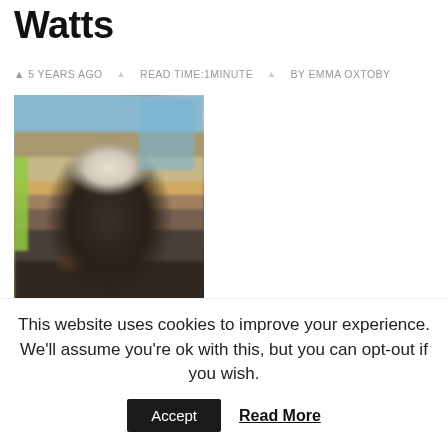Watts
5 YEARS AGO   READ TIME:1MINUTE   BY EMMA OXTOBY
[Figure (photo): Blurred photograph of a person with white/grey hair wearing dark clothing, seated indoors with a green stripe on the left, wooden paneling and blue window visible in the background.]
This website uses cookies to improve your experience. We'll assume you're ok with this, but you can opt-out if you wish.
Accept   Read More